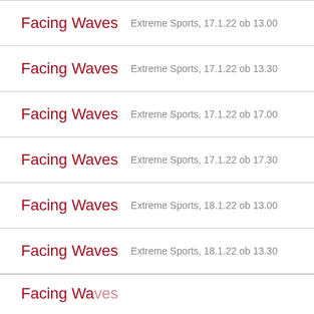Facing Waves   Extreme Sports, 17.1.22 ob 13.00
Facing Waves   Extreme Sports, 17.1.22 ob 13.30
Facing Waves   Extreme Sports, 17.1.22 ob 17.00
Facing Waves   Extreme Sports, 17.1.22 ob 17.30
Facing Waves   Extreme Sports, 18.1.22 ob 13.00
Facing Waves   Extreme Sports, 18.1.22 ob 13.30
Facing Waves   (partial)